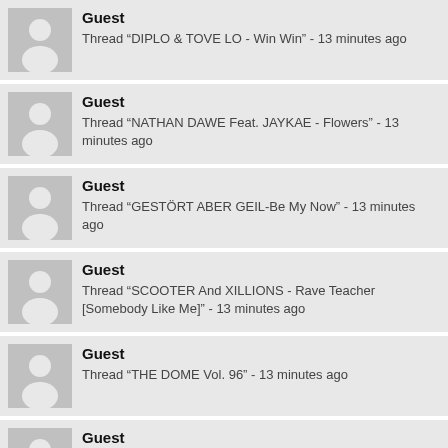Guest
Thread "DIPLO & TOVE LO - Win Win" - 13 minutes ago
Guest
Thread "NATHAN DAWE Feat. JAYKAE - Flowers" - 13 minutes ago
Guest
Thread "GESTÖRT ABER GEIL-Be My Now" - 13 minutes ago
Guest
Thread "SCOOTER And XILLIONS - Rave Teacher [Somebody Like Me]" - 13 minutes ago
Guest
Thread "THE DOME Vol. 96" - 13 minutes ago
Guest
Unknown location - 13 minutes ago
Guest
Forum "Reste de Solles Internacionales: Singles" - 13 minutes